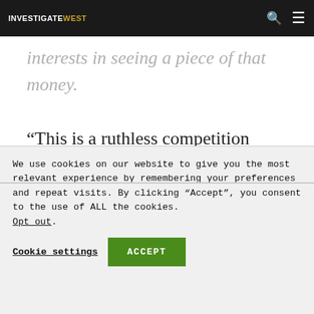INVESTIGATEWEST
interests in seeing a piece of that money. “This is a ruthless competition nationwide. It’ll be political malpractice not to leave everything on the field,” said state Sen. Reuven Carlyle, D-Seattle, a legislative leader on climate change
We use cookies on our website to give you the most relevant experience by remembering your preferences and repeat visits. By clicking “Accept”, you consent to the use of ALL the cookies. Opt out.
Cookie settings  ACCEPT